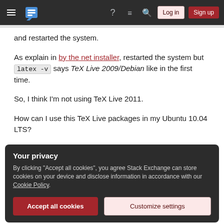Stack Exchange navigation bar with Log in and Sign up buttons
and restarted the system.
As explain in by the net installer, restarted the system but latex -v says TeX Live 2009/Debian like in the first time.
So, I think I'm not using TeX Live 2011.
How can I use this TeX Live packages in my Ubuntu 10.04 LTS?
Your privacy
By clicking "Accept all cookies", you agree Stack Exchange can store cookies on your device and disclose information in accordance with our Cookie Policy.
Accept all cookies | Customize settings
asked Oct 17, 2011 at 18:26